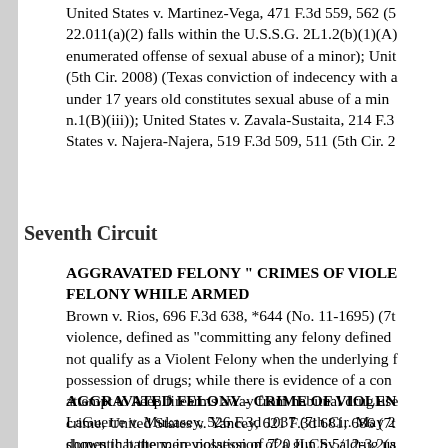United States v. Martinez-Vega, 471 F.3d 559, 562 (5th Cir. 2006) (Texas Penal Code § 22.011(a)(2) falls within the U.S.S.G. 2L1.2(b)(1)(A) because it qualifies as an enumerated offense of sexual abuse of a minor); United States v. Garza-Lopez, 410 F.3d (5th Cir. 2008) (Texas conviction of indecency with a child by contact involving a victim under 17 years old constitutes sexual abuse of a minor under U.S.S.G. § 2L1.2 comment n.1(B)(iii)); United States v. Zavala-Sustaita, 214 F.3d 601 (5th Cir. 2000); United States v. Najera-Najera, 519 F.3d 509, 511 (5th Cir. 2008).
Seventh Circuit
AGGRAVATED FELONY " CRIMES OF VIOLENCE" - COMMISSION OF FELONY WHILE ARMED
Brown v. Rios, 696 F.3d 638, *644 (No. 11-1695) (7th Cir. 2012). Crime of violence, defined as "committing any felony defined under federal or state law" does not qualify as a Violent Felony when the underlying felony is unlawful possession of drugs; while there is evidence of a congressional intent to attempt to keep firearms away from habitual drug users to prevent violent crime, United States v. Yancey, 621 F.3d 681, 686 (7th Cir. 2010), it hasn't shown that the mere possession of a gun by a drug user is "otherwise" purposeful, violent, or aggressive conduct within the ...
AGGRAVATED FELONY - CRIME OF VIOLENCE - DOMESTIC BATTERY
LaGuerre v. Mukasey, 526 F.3d 1037 (7th Cir. May 2008). Illinois conviction for domestic battery, in violation of 720 ILCS 5/12-3.2(a)(1) ("A person commits domestic battery if he intentionally or knowingly without legal justification by any means: (1) Causes b...